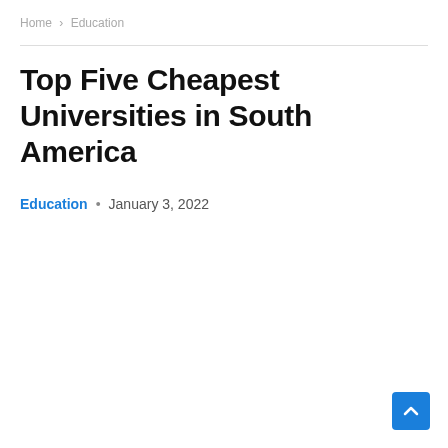Home > Education
Top Five Cheapest Universities in South America
Education · January 3, 2022